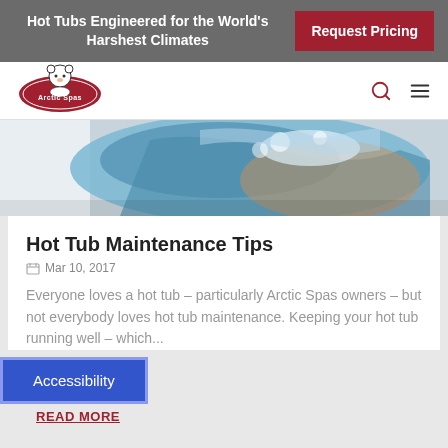Hot Tubs Engineered for the World's Harshest Climates | Request Pricing
[Figure (logo): Arctic Spas logo — polar bear on red oval badge with 'Arctic Spas' text]
[Figure (photo): Close-up photo of hot tub water with blue swirling water and foam]
Hot Tub Maintenance Tips
Mar 10, 2017
Everyone loves a hot tub – particularly Arctic Spas owners – but not everybody loves hot tub maintenance. Keeping your hot tub running well – which...
Accessibility
READ MORE